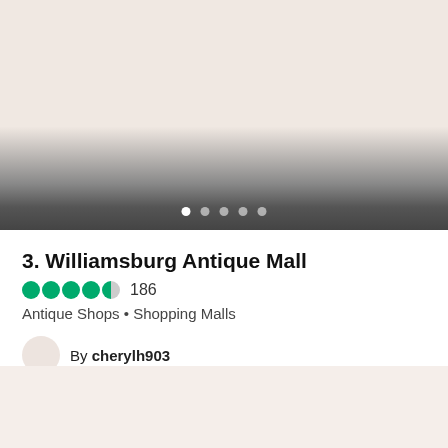[Figure (photo): Image area with gradient fading to dark gray at bottom, with carousel dots]
3. Williamsburg Antique Mall
4.5 stars  186
Antique Shops • Shopping Malls
By cherylh903
You can find coins, military, vintage jewelry, art, vinyl records, holiday, books, civil war items, lighting, china,...